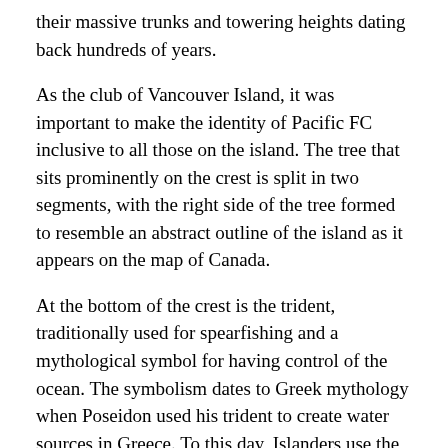their massive trunks and towering heights dating back hundreds of years.
As the club of Vancouver Island, it was important to make the identity of Pacific FC inclusive to all those on the island. The tree that sits prominently on the crest is split in two segments, with the right side of the tree formed to resemble an abstract outline of the island as it appears on the map of Canada.
At the bottom of the crest is the trident, traditionally used for spearfishing and a mythological symbol for having control of the ocean. The symbolism dates to Greek mythology when Poseidon used his trident to create water sources in Greece. To this day, Islanders use the trident to spearfish for food.
The starfish purple border surrounding the tree is representative of the Pacific Ocean that borders all sides of the island. At the bottom of the logo is the V chevron